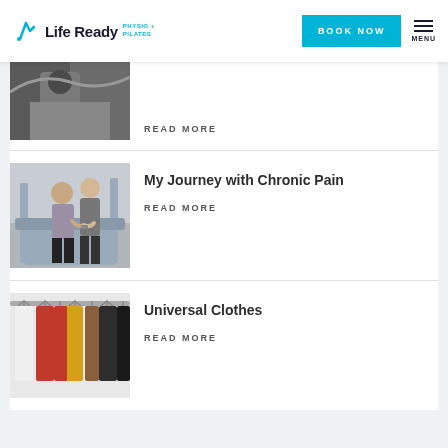Life Ready PHYSIO + PILATES | BOOK NOW | MENU
[Figure (photo): Partial view of a person receiving physiotherapy treatment, image cropped at top]
READ MORE
My Journey with Chronic Pain
READ MORE
[Figure (photo): A physiotherapist assisting a patient on a treadmill in a clinic]
Universal Clothes
READ MORE
[Figure (photo): Colorful clothes hanging on a rack, including white, red, yellow, brown and black garments]